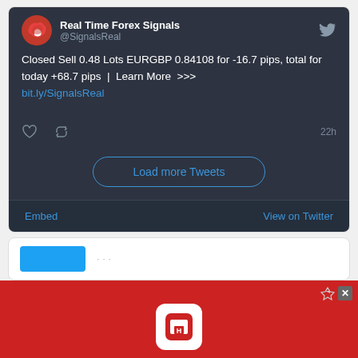[Figure (screenshot): Twitter/X embedded tweet widget showing Real Time Forex Signals account (@SignalsReal) with tweet text about closed sell trade, like and retweet icons, timestamp 22h, Load more Tweets button, Embed and View on Twitter footer links]
[Figure (screenshot): Partial second Twitter widget card visible at bottom with blue button element]
[Figure (screenshot): Hotels.com advertisement banner in red with Hotels.com logo icon, Hotels.com text, and BOOK NOW button]